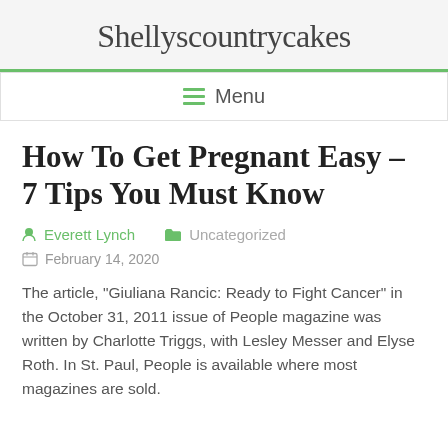Shellyscountrycakes
≡ Menu
How To Get Pregnant Easy – 7 Tips You Must Know
Everett Lynch   Uncategorized
February 14, 2020
The article, "Giuliana Rancic: Ready to Fight Cancer" in the October 31, 2011 issue of People magazine was written by Charlotte Triggs, with Lesley Messer and Elyse Roth. In St. Paul, People is available where most magazines are sold.